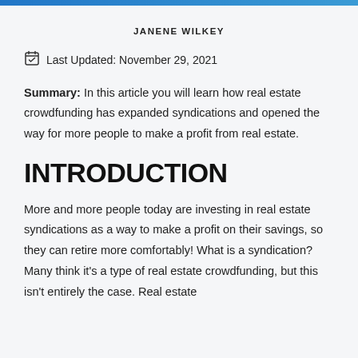JANENE WILKEY
Last Updated: November 29, 2021
Summary: In this article you will learn how real estate crowdfunding has expanded syndications and opened the way for more people to make a profit from real estate.
INTRODUCTION
More and more people today are investing in real estate syndications as a way to make a profit on their savings, so they can retire more comfortably! What is a syndication? Many think it's a type of real estate crowdfunding, but this isn't entirely the case. Real estate